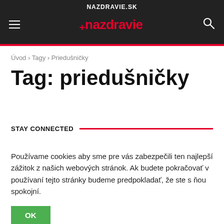NAZDRAVIE.SK
Úvod › Tagy › Priedušničky
Tag: priedušničky
STAY CONNECTED
Používame cookies aby sme pre vás zabezpečili ten najlepší zážitok z našich webových stránok. Ak budete pokračovať v používaní tejto stránky budeme predpokladať, že ste s ňou spokojní.
OK